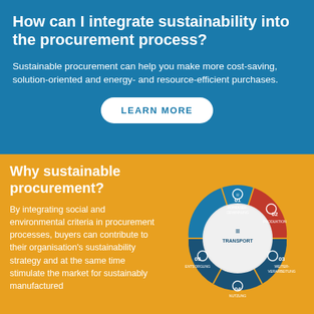How can I integrate sustainability into the procurement process?
Sustainable procurement can help you make more cost-saving, solution-oriented and energy- and resource-efficient purchases.
LEARN MORE
Why sustainable procurement?
By integrating social and environmental criteria in procurement processes, buyers can contribute to their organisation's sustainability strategy and at the same time stimulate the market for sustainably manufactured
[Figure (infographic): Circular infographic showing 5 stages of a product lifecycle: 01 ROHFASER-GEWINNUNG (blue, top), 02 PRODUKTION (red, top-right), 03 WEITER-VERARBEITUNG (dark blue, right), 04 NUTZUNG (dark blue, bottom), 05 ENTSORGUNG (dark blue, left), with TRANSPORT in the center circle. Each segment has an icon.]